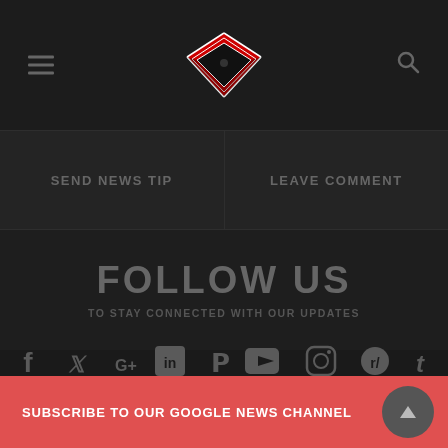[Figure (logo): Wrestling ring logo with red ropes and black mat, diamond/box shape viewed from above]
SEND NEWS TIP
LEAVE COMMENT
FOLLOW US
TO STAY CONNECTED WITH OUR UPDATES
[Figure (infographic): Row of social media icons: Facebook, Twitter, Google+, LinkedIn, Pinterest, YouTube, Instagram, Reddit, Tumblr]
SUBSCRIBE TO OUR GOOGLE NEWS CHANNEL